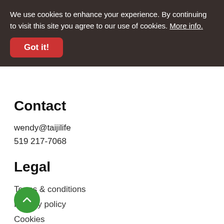We use cookies to enhance your experience. By continuing to visit this site you agree to our use of cookies. More info.
Got it!
Contact
wendy@taijilife
519 217-7068
Legal
Terms & conditions
Privacy policy
Cookies
© 2021 Taiji Life
[Figure (other): Green circular scroll-to-top button with upward chevron arrow]